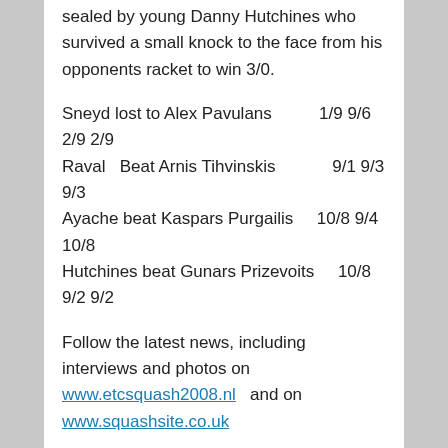sealed by young Danny Hutchines who survived a small knock to the face from his opponents racket to win 3/0.
Sneyd lost to Alex Pavulans   1/9 9/6 2/9 2/9
Raval  Beat Arnis Tihvinskis      9/1 9/3 9/3
Ayache beat Kaspars Purgailis   10/8 9/4 10/8
Hutchines beat Gunars Prizevoits   10/8 9/2 9/2
Follow the latest news, including interviews and photos on www.etcsquash2008.nl  and on www.squashsite.co.uk